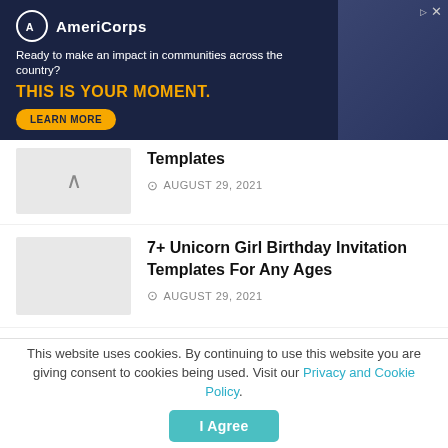[Figure (screenshot): AmeriCorps advertisement banner with dark navy background. Logo with circle 'A', tagline 'Ready to make an impact in communities across the country?', headline 'THIS IS YOUR MOMENT.' in yellow, LEARN MORE button, and image of people at computers on right side.]
Templates
AUGUST 29, 2021
7+ Unicorn Girl Birthday Invitation Templates For Any Ages
AUGUST 29, 2021
8+ Cute Hand Drawn Birthday Invitation Templates
MAY 5, 2021
8+ Colorful Hand Drawn Birthday Invitation Templates For Your Kid's Birthday
This website uses cookies. By continuing to use this website you are giving consent to cookies being used. Visit our Privacy and Cookie Policy.